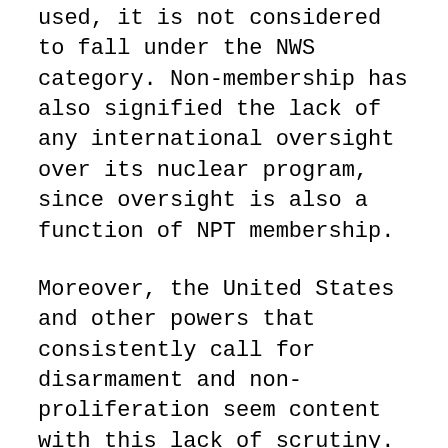used, it is not considered to fall under the NWS category. Non-membership has also signified the lack of any international oversight over its nuclear program, since oversight is also a function of NPT membership.
Moreover, the United States and other powers that consistently call for disarmament and non-proliferation seem content with this lack of scrutiny. The Washington Post ombudsman Patrick Pexton writes that, once the United States became certain that Israel possessed nuclear weapons, “[U.S. President Richard] Nixon and every president since has not pressed Israel to officially disclose its